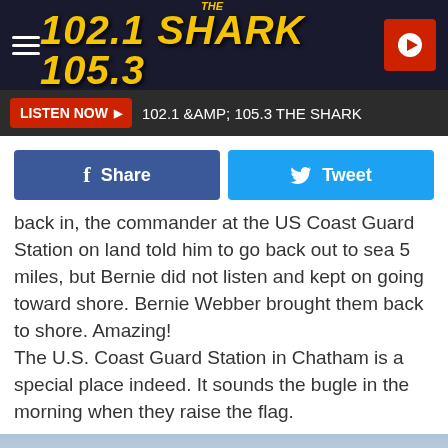[Figure (screenshot): Top navigation bar showing hamburger menu, 102.1 SHARK 105.3 logo in yellow, and red play button on dark navy background]
[Figure (screenshot): Listen Now button bar with red LISTEN NOW button and text '102.1 &AMP; 105.3 THE SHARK' on dark background]
[Figure (screenshot): Facebook Share button (blue) and Twitter Tweet button (light blue) social sharing row]
back in, the commander at the US Coast Guard Station on land told him to go back out to sea 5 miles, but Bernie did not listen and kept on going toward shore.  Bernie Webber brought them back to shore. Amazing!
The U.S. Coast Guard Station in Chatham is a special place indeed.  It sounds the bugle in the morning when they raise the flag.
[Figure (photo): Sky photo with light blue and grey clouds at the bottom of the page]